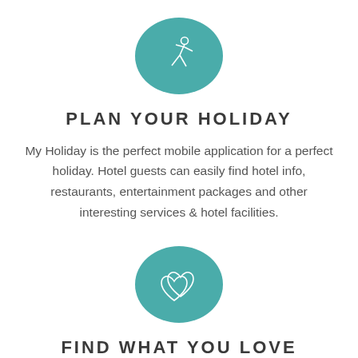[Figure (illustration): Teal circle with a white stick figure icon (person in motion/dancing pose)]
PLAN YOUR HOLIDAY
My Holiday is the perfect mobile application for a perfect holiday. Hotel guests can easily find hotel info, restaurants, entertainment packages and other interesting services & hotel facilities.
[Figure (illustration): Teal circle with two white heart outline icons]
FIND WHAT YOU LOVE